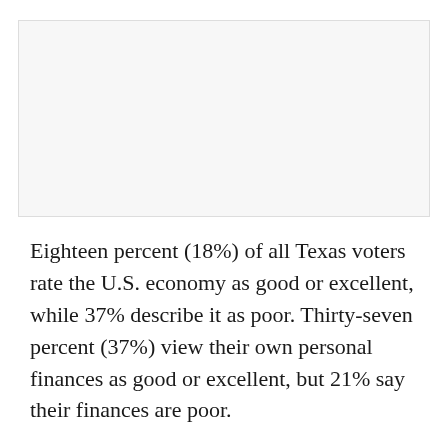[Figure (other): Blank/empty figure area at top of page]
Eighteen percent (18%) of all Texas voters rate the U.S. economy as good or excellent, while 37% describe it as poor. Thirty-seven percent (37%) view their own personal finances as good or excellent, but 21% say their finances are poor.
Forty-six percent (46%) in Texas approve of the